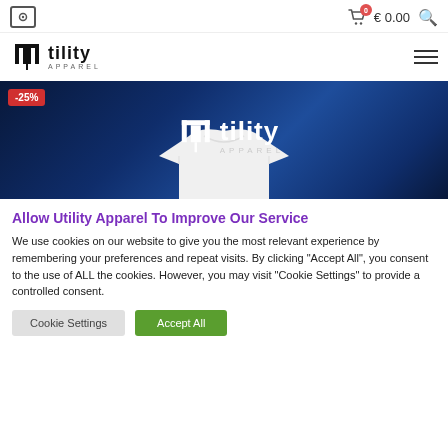0  € 0.00
[Figure (logo): Utility Apparel logo with stylized U/T symbol and hamburger menu]
[Figure (photo): Utility Apparel banner with -25% discount badge, white logo text on dark blue gradient background, white t-shirt at bottom]
Allow Utility Apparel To Improve Our Service
We use cookies on our website to give you the most relevant experience by remembering your preferences and repeat visits. By clicking "Accept All", you consent to the use of ALL the cookies. However, you may visit "Cookie Settings" to provide a controlled consent.
Cookie Settings
Accept All